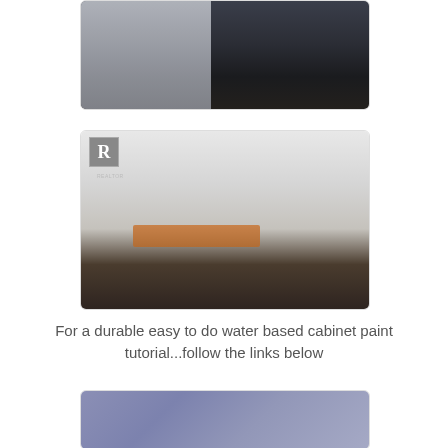[Figure (photo): Close-up photo of a dark navy/charcoal painted kitchen island with beadboard paneling and turned legs, dark hardwood floors, partial view of countertop on left side]
[Figure (photo): Wide-angle photo of a white farmhouse-style kitchen with painted cabinets, subway tile backsplash, center island with butcher block top, pendant lights, bamboo roman shades, and REALTOR logo watermark in top-left corner]
For a durable easy to do water based cabinet paint tutorial...follow the links below
[Figure (photo): Partial photo showing a blue-purple paint color swatch or painted surface]